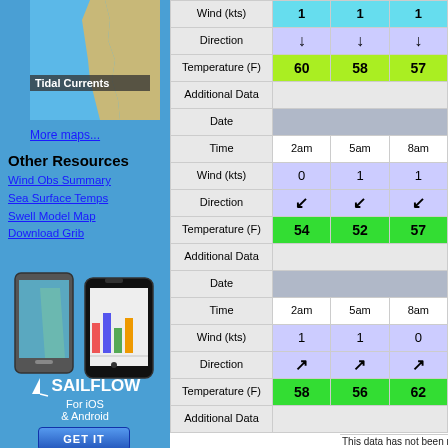[Figure (map): Coastal map showing tidal currents area with blue ocean and tan coastline]
Tidal Currents
More maps...
Other Resources
Wind Obs Summary
Sea Surface Temps
Swell Model Map
Download Grib
[Figure (photo): Two smartphones (Android and iPhone) showing Sailflow app]
SAILFLOW
For iOS & Android
GET IT
|  | 2am | 5am | 8a |
| --- | --- | --- | --- |
| Wind (kts) | 1 | 1 | 1 |
| Direction | ↓ | ↓ | ↓ |
| Temperature (F) | 60 | 58 | 57 |
| Additional Data |  |  |  |
| Date |  |  |  |
| Time | 2am | 5am | 8am |
| Wind (kts) | 0 | 1 | 1 |
| Direction | ↙ | ↙ | ↙ |
| Temperature (F) | 54 | 52 | 57 |
| Additional Data |  |  |  |
| Date |  |  |  |
| Time | 2am | 5am | 8am |
| Wind (kts) | 1 | 1 | 0 |
| Direction | ↗ | ↗ | ↗ |
| Temperature (F) | 58 | 56 | 62 |
| Additional Data |  |  |  |
This data has not been reviewed by a live meteorologist.